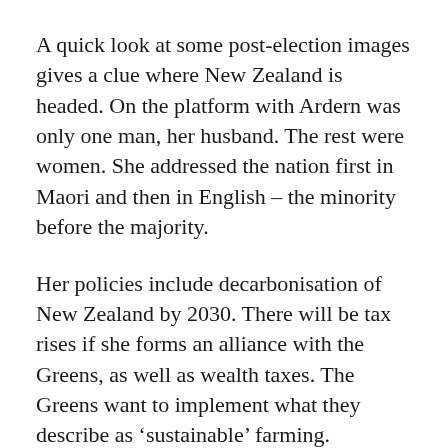A quick look at some post-election images gives a clue where New Zealand is headed. On the platform with Ardern was only one man, her husband. The rest were women. She addressed the nation first in Maori and then in English – the minority before the majority.
Her policies include decarbonisation of New Zealand by 2030. There will be tax rises if she forms an alliance with the Greens, as well as wealth taxes. The Greens want to implement what they describe as 'sustainable' farming.
Ardern has said a proposal to restore New Zealand's original Maori name of Aotearoa ('land of the long white cloud') is 'positive'.
A high minimum wage will be imposed on